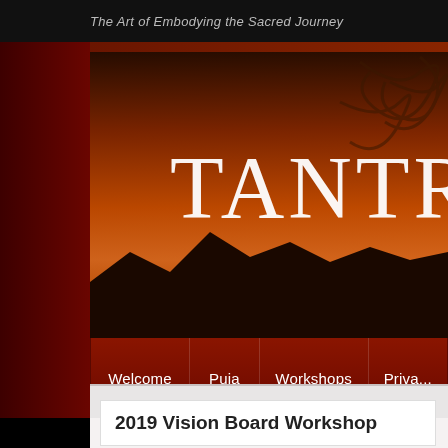The Art of Embodying the Sacred Journey
[Figure (illustration): Website banner with large decorative serif text 'TANTRA' partially visible, ornate swirling design element on right, sunset/twilight desert landscape with mountain silhouette in background, orange and amber gradient sky]
Welcome  |  Puja  |  Workshops  |  Priva...
Browsing: › Home
2019 Vision Board Workshop